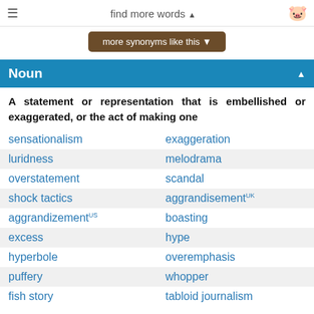find more words ▲
more synonyms like this ▼
Noun
A statement or representation that is embellished or exaggerated, or the act of making one
sensationalism
exaggeration
luridness
melodrama
overstatement
scandal
shock tactics
aggrandisement UK
aggrandizement US
boasting
excess
hype
hyperbole
overemphasis
puffery
whopper
fish story
tabloid journalism